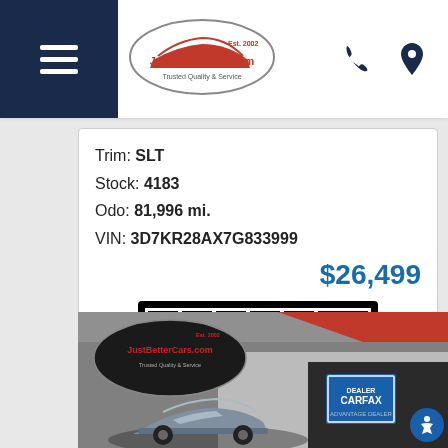[Figure (logo): JustBetterCars.com logo in oval, Est. 2002, Trusted Quality & Service]
Trim: SLT
Stock: 4183
Odo: 81,996 mi.
VIN: 3D7KR28AX7G833999
$26,499
[Figure (logo): CARFAX logo — black and white block letters]
Check Availability
[Figure (photo): JustBetterCars.com dealership exterior photo with CARFAX sign and a car in front]